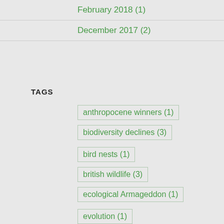February 2018 (1)
December 2017 (2)
TAGS
anthropocene winners (1)
biodiversity declines (3)
bird nests (1)
british wildlife (3)
ecological Armageddon (1)
evolution (1)
fossils (1)
human behaviour (1)
insects (4)
Lepidoptera (4)
light pollution (1)
Moths (4)